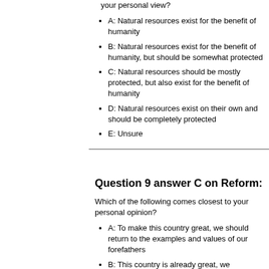your personal view?
A: Natural resources exist for the benefit of humanity
B: Natural resources exist for the benefit of humanity, but should be somewhat protected
C: Natural resources should be mostly protected, but also exist for the benefit of humanity
D: Natural resources exist on their own and should be completely protected
E: Unsure
Question 9 answer C on Reform:
Which of the following comes closest to your personal opinion?
A: To make this country great, we should return to the examples and values of our forefathers
B: This country is already great, we shouldn't change a thing
C: To make this country great, we should keep building and adapting for the future